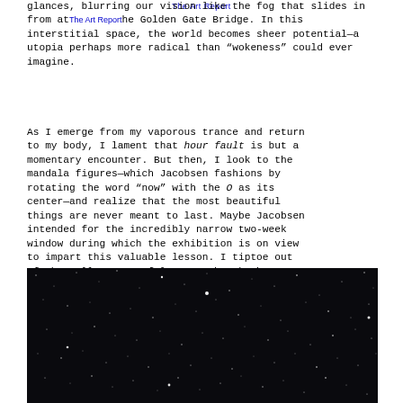The Art Report
glances, blurring our vision like the fog that slides in from at the Golden Gate Bridge. In this interstitial space, the world becomes sheer potential—a utopia perhaps more radical than “wokeness” could ever imagine.
As I emerge from my vaporous trance and return to my body, I lament that hour fault is but a momentary encounter. But then, I look to the mandala figures—which Jacobsen fashions by rotating the word “now” with the O as its center—and realize that the most beautiful things are never meant to last. Maybe Jacobsen intended for the incredibly narrow two-week window during which the exhibition is on view to impart this valuable lesson. I tiptoe out of the gallery, careful not to break the silence.
[Figure (photo): Dark night sky photograph filled with numerous small white stars and star clusters against a near-black background.]